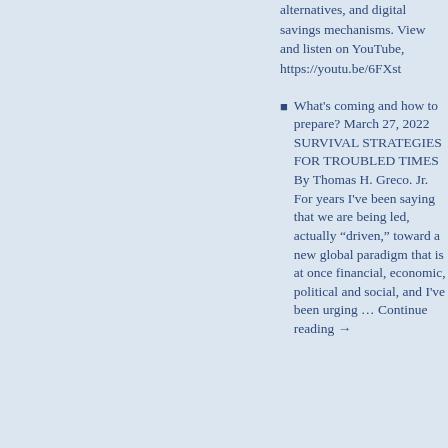alternatives, and digital savings mechanisms. View and listen on YouTube, https://youtu.be/6FXst
What's coming and how to prepare? March 27, 2022 SURVIVAL STRATEGIES FOR TROUBLED TIMES By Thomas H. Greco. Jr. For years I've been saying that we are being led, actually “driven,” toward a new global paradigm that is at once financial, economic, political and social, and I've been urging … Continue reading →